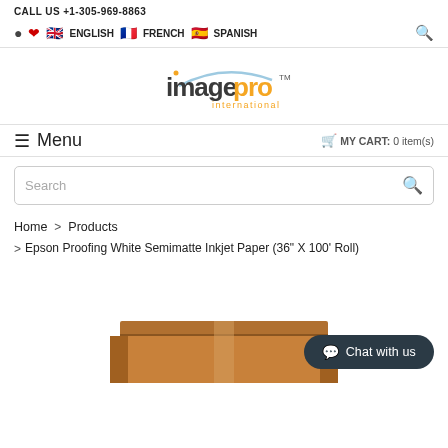CALL US +1-305-969-8863
ENGLISH  FRENCH  SPANISH
[Figure (logo): ImagePro International logo with arc and orange/blue text]
≡ Menu    🛒 MY CART: 0 item(s)
Search
Home > Products
> Epson Proofing White Semimatte Inkjet Paper (36" X 100' Roll)
[Figure (photo): Cardboard box/packaging at bottom of page with Chat with us button overlay]